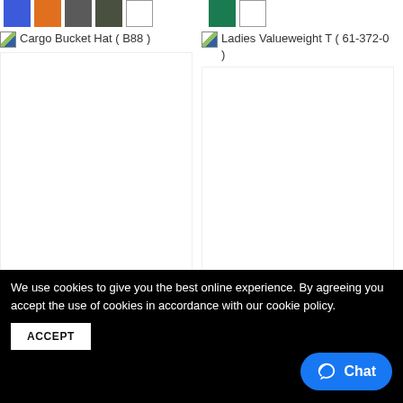[Figure (other): Color swatches: blue, orange, gray, dark gray, white (left group); green, white (right group)]
[Figure (photo): Cargo Bucket Hat (B88) product image placeholder]
[Figure (photo): Ladies Valueweight T (61-372-0) product image placeholder]
Cargo Bucket Hat ( B88 )
Ladies Valueweight T ( 61-372-0 )
We use cookies to give you the best online experience. By agreeing you accept the use of cookies in accordance with our cookie policy.
ACCEPT
Chat